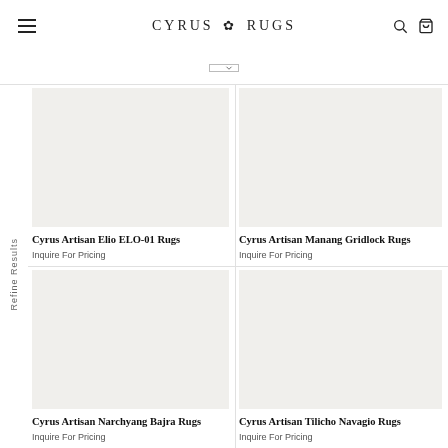CYRUS RUGS
Refine Results
Cyrus Artisan Elio ELO-01 Rugs
Inquire For Pricing
Cyrus Artisan Manang Gridlock Rugs
Inquire For Pricing
Cyrus Artisan Narchyang Bajra Rugs
Inquire For Pricing
Cyrus Artisan Tilicho Navagio Rugs
Inquire For Pricing